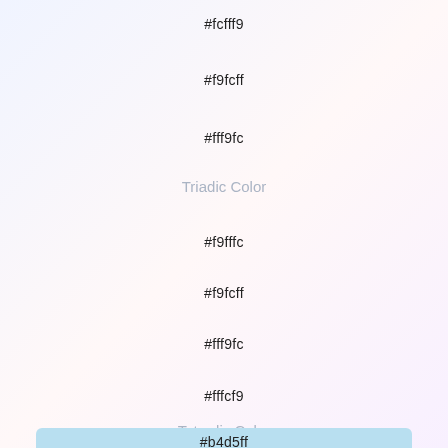#fcfff9
#f9fcff
#fff9fc
Triadic Color
#f9fffc
#f9fcff
#fff9fc
#fffcf9
Tetradic Color
#b4d5ff